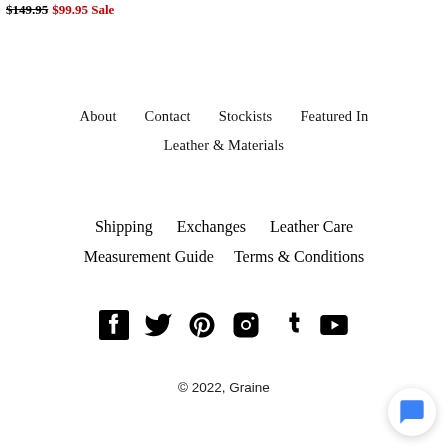$149.95 $99.95 Sale
About    Contact    Stockists    Featured In    Leather & Materials
Shipping    Exchanges    Leather Care    Measurement Guide    Terms & Conditions
[Figure (other): Social media icons: Facebook, Twitter, Pinterest, Instagram, Tumblr, YouTube]
© 2022, Graine